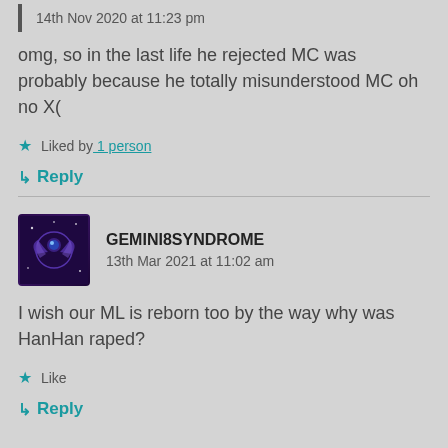14th Nov 2020 at 11:23 pm
omg, so in the last life he rejected MC was probably because he totally misunderstood MC oh no X(
Liked by 1 person
Reply
GEMINI8SYNDROME
13th Mar 2021 at 11:02 am
I wish our ML is reborn too by the way why was HanHan raped?
Like
Reply